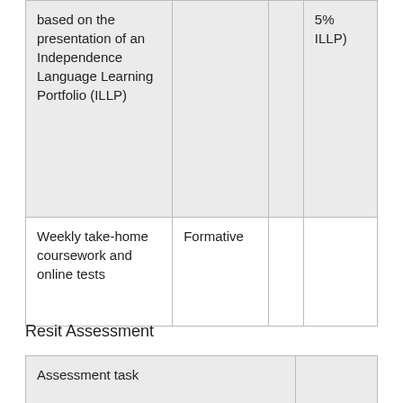| based on the presentation of an Independence Language Learning Portfolio (ILLP) |  |  | 5% ILLP) |
| Weekly take-home coursework and online tests | Formative |  |  |
Resit Assessment
| Assessment task |  |
| --- | --- |
|  |  |